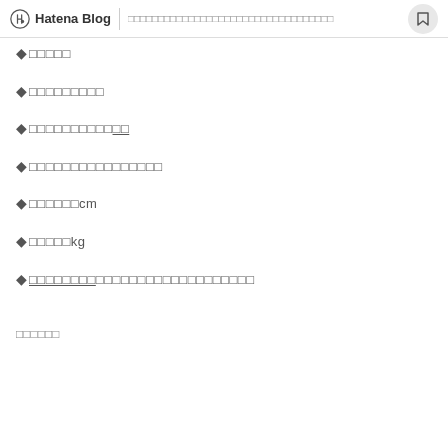Hatena Blog | □□□□□□□□□□□□□□□□□□□□□□□□□□□□□□□□□□□
◆□□□□□
◆□□□□□□□□□
◆□□□□□□□□□□□□
◆□□□□□□□□□□□□□□□□
◆□□□□□□cm
◆□□□□□kg
◆□□□□□□□□□□□□□□□□□□□□□□□□□
□□□□□□